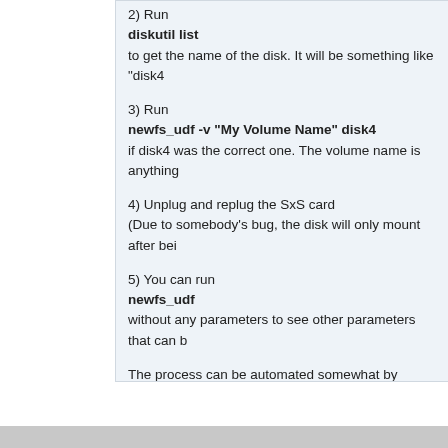2) Run
diskutil list
to get the name of the disk. It will be something like "disk4
3) Run
newfs_udf -v "My Volume Name" disk4
if disk4 was the correct one. The volume name is anything
4) Unplug and replug the SxS card
(Due to somebody's bug, the disk will only mount after bei
5) You can run
newfs_udf
without any parameters to see other parameters that can b
The process can be automated somewhat by writing a bas